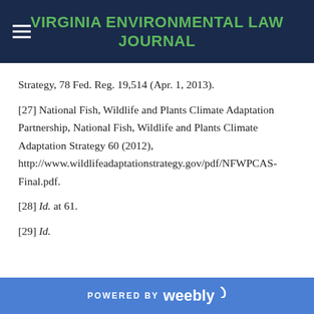VIRGINIA ENVIRONMENTAL LAW JOURNAL
Strategy, 78 Fed. Reg. 19,514 (Apr. 1, 2013).
[27] National Fish, Wildlife and Plants Climate Adaptation Partnership, National Fish, Wildlife and Plants Climate Adaptation Strategy 60 (2012), http://www.wildlifeadaptationstrategy.gov/pdf/NFWPCAS-Final.pdf.
[28] Id. at 61.
[29] Id.
POWERED BY weebly